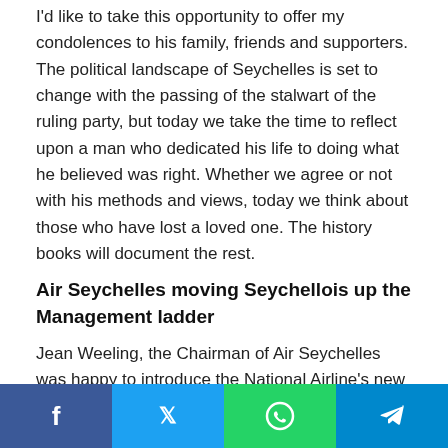I'd like to take this opportunity to offer my condolences to his family, friends and supporters. The political landscape of Seychelles is set to change with the passing of the stalwart of the ruling party, but today we take the time to reflect upon a man who dedicated his life to doing what he believed was right. Whether we agree or not with his methods and views, today we think about those who have lost a loved one. The history books will document the rest.
Air Seychelles moving Seychellois up the Management ladder
Jean Weeling, the Chairman of Air Seychelles was happy to introduce the National Airline's new Seychellois Members of their Management Team during the Tourism
[Figure (infographic): Social media sharing bar at the bottom with four buttons: Facebook (blue), Twitter (light blue), WhatsApp (green), Telegram (blue)]